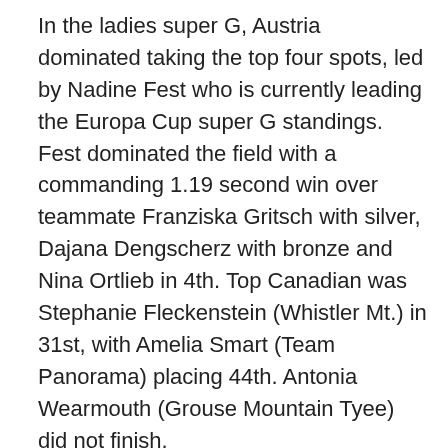In the ladies super G, Austria dominated taking the top four spots, led by Nadine Fest who is currently leading the Europa Cup super G standings. Fest dominated the field with a commanding 1.19 second win over teammate Franziska Gritsch with silver, Dajana Dengscherz with bronze and Nina Ortlieb in 4th. Top Canadian was Stephanie Fleckenstein (Whistler Mt.) in 31st, with Amelia Smart (Team Panorama) placing 44th. Antonia Wearmouth (Grouse Mountain Tyee) did not finish.
In the Marc Hodler Cup, Austria has taken a commanding lead ahead with 50 points, ahead of USA and Switzerland whoa re tied for 2nd with 29 points. Canada currently sits in 6th with 14 points.
Tomorrow the ladies take centre stage with the alpine combined (super G and slalom). The men have a one-day